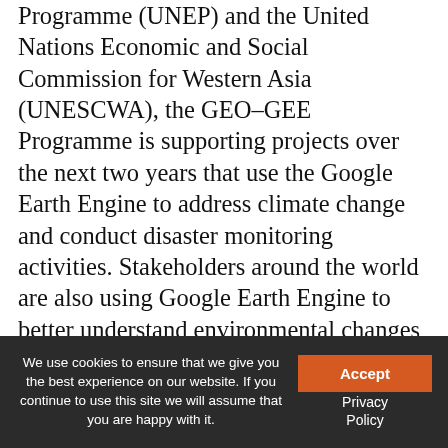Programme (UNEP) and the United Nations Economic and Social Commission for Western Asia (UNESCWA), the GEO-GEE Programme is supporting projects over the next two years that use the Google Earth Engine to address climate change and conduct disaster monitoring activities. Stakeholders around the world are also using Google Earth Engine to better understand environmental changes and to tackle some of the most pressing global issues that range from forest degradation and flood monitoring to natural resource management and global climate change. The sustainability of infrastructure is another area of high concern. The Intergovernmental Panel on Climate Change (IPCC) estimates that cities consume 78% of the world's energy and produce more than 70% of greenhouse gas emissions. Seven of every ten people are projected to live in cities by 2050, so urban areas can offer unique
We use cookies to ensure that we give you the best experience on our website. If you continue to use this site we will assume that you are happy with it.
Accept
Privacy Policy